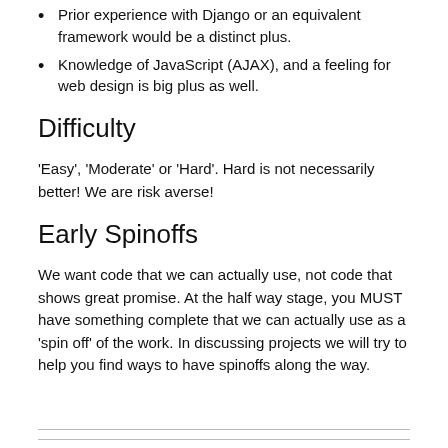Prior experience with Django or an equivalent framework would be a distinct plus.
Knowledge of JavaScript (AJAX), and a feeling for web design is big plus as well.
Difficulty
‘Easy’, ‘Moderate’ or ‘Hard’. Hard is not necessarily better! We are risk averse!
Early Spinoffs
We want code that we can actually use, not code that shows great promise. At the half way stage, you MUST have something complete that we can actually use as a ‘spin off’ of the work. In discussing projects we will try to help you find ways to have spinoffs along the way.